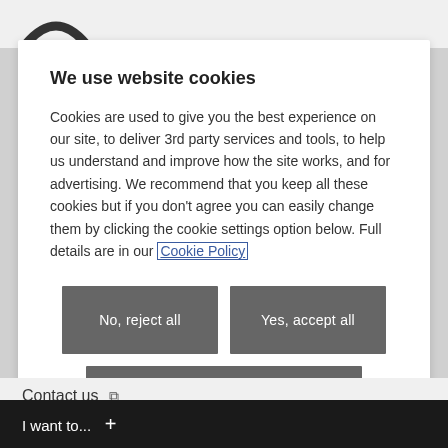[Figure (logo): Partial arc/chevron logo visible at top left corner]
We use website cookies
Cookies are used to give you the best experience on our site, to deliver 3rd party services and tools, to help us understand and improve how the site works, and for advertising. We recommend that you keep all these cookies but if you don't agree you can easily change them by clicking the cookie settings option below. Full details are in our Cookie Policy
No, reject all
Yes, accept all
Take me to the cookie settings
Contact us
I want to...